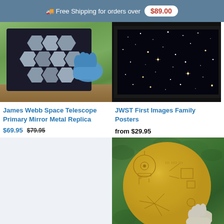🚚 Free Shipping for orders over $89.00
[Figure (photo): James Webb Space Telescope primary mirror hexagonal metal replica being held by a gloved hand outdoors on grass]
James Webb Space Telescope Primary Mirror Metal Replica
$69.95  $79.95
[Figure (photo): JWST First Images showing deep field stars and galaxies in a black framed poster]
JWST First Images Family Posters
from $29.95
[Figure (photo): Light blue/white placeholder product image]
[Figure (photo): Golden Voyager record replica being held by a gloved hand in front of green foliage, showing engraved diagrams and inscriptions]